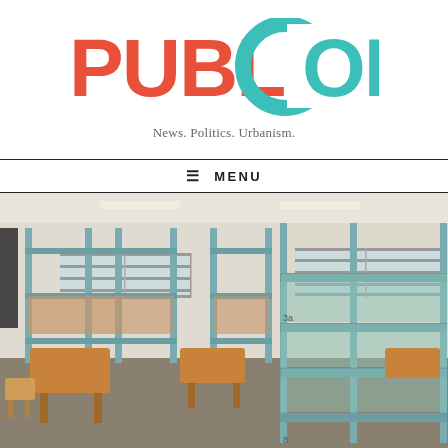[Figure (logo): PubliCola logo with red 'PUBLI' and teal 'Cola' text with circular C graphic]
News. Politics. Urbanism.
≡ MENU
[Figure (photo): Interior of a shelter or dormitory room with metal bunk bed frames, wooden tables and chairs, concrete floor, fluorescent lighting, and horizontal windows high on the walls]